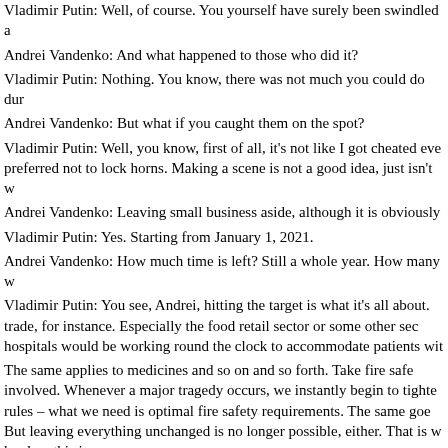Vladimir Putin: Well, of course. You yourself have surely been swindled a
Andrei Vandenko: And what happened to those who did it?
Vladimir Putin: Nothing. You know, there was not much you could do dur
Andrei Vandenko: But what if you caught them on the spot?
Vladimir Putin: Well, you know, first of all, it's not like I got cheated eve preferred not to lock horns. Making a scene is not a good idea, just isn't w
Andrei Vandenko: Leaving small business aside, although it is obviously
Vladimir Putin: Yes. Starting from January 1, 2021.
Andrei Vandenko: How much time is left? Still a whole year. How many w
Vladimir Putin: You see, Andrei, hitting the target is what it's all about. trade, for instance. Especially the food retail sector or some other sec hospitals would be working round the clock to accommodate patients wit
The same applies to medicines and so on and so forth. Take fire safe involved. Whenever a major tragedy occurs, we instantly begin to tighte rules – what we need is optimal fire safety requirements. The same goe But leaving everything unchanged is no longer possible, either. That is w hard on this issue.
Andrei Vandenko: What about big business, investment? Foreign invest began with Khodorkovsky, then there was Magnitsky, and now we have C
Vladimir Putin: Khodorkovsky is a fraudster, and their company was inv They were convicted in accordance with Russian law. Khodorkovsky's p place. They were proven. Including killings by their security service. Do own initiative, of their own volition? I don't think so. I don't think it wor activities were proven, hence his prison sentence.
As for Calvey, the law enforcement agencies and the court are looking in